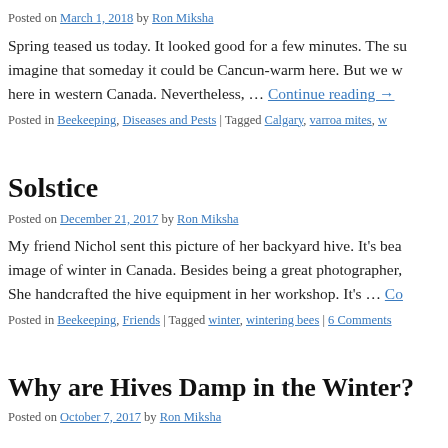Posted on March 1, 2018 by Ron Miksha
Spring teased us today. It looked good for a few minutes. The su imagine that someday it could be Cancun-warm here. But we w here in western Canada. Nevertheless, … Continue reading →
Posted in Beekeeping, Diseases and Pests | Tagged Calgary, varroa mites, w
Solstice
Posted on December 21, 2017 by Ron Miksha
My friend Nichol sent this picture of her backyard hive. It's bea image of winter in Canada. Besides being a great photographer, She handcrafted the hive equipment in her workshop. It's … Co
Posted in Beekeeping, Friends | Tagged winter, wintering bees | 6 Comments
Why are Hives Damp in the Winter?
Posted on October 7, 2017 by Ron Miksha